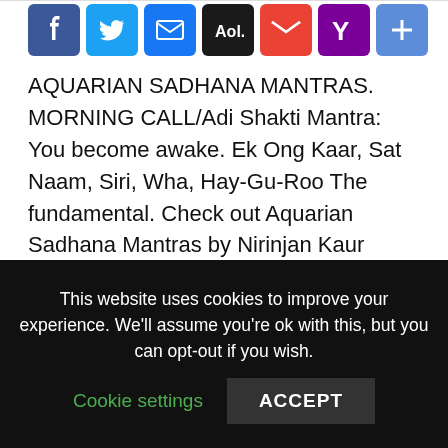[Figure (other): Social sharing icon buttons: Facebook (blue), Twitter (light blue), Email (blue), AOL (black), Gmail (red), Yahoo (purple), Share/Plus (blue)]
AQUARIAN SADHANA MANTRAS. MORNING CALL/Adi Shakti Mantra: You become awake. Ek Ong Kaar, Sat Naam, Siri, Wha, Hay-Gu-Roo The fundamental. Check out Aquarian Sadhana Mantras by Nirinjan Kaur Khalsa on Amazon Music . Stream ad-free or purchase CD's and MP3s now on Yogi Bhajan gave us the Aquarian Sadhana, which includes these mantras, in It was given to help prepare us for this new age of Aquarius, as well as to.
This website uses cookies to improve your experience. We'll assume you're ok with this, but you can opt-out if you wish.
Cookie settings
ACCEPT